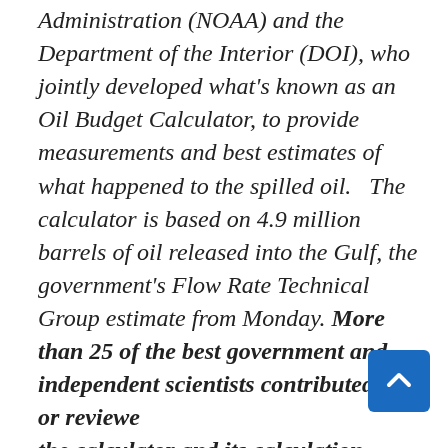Administration (NOAA) and the Department of the Interior (DOI), who jointly developed what's known as an Oil Budget Calculator, to provide measurements and best estimates of what happened to the spilled oil.   The calculator is based on 4.9 million barrels of oil released into the Gulf, the government's Flow Rate Technical Group estimate from Monday. More than 25 of the best government and independent scientists contributed to or reviewed the calculator and its calculation